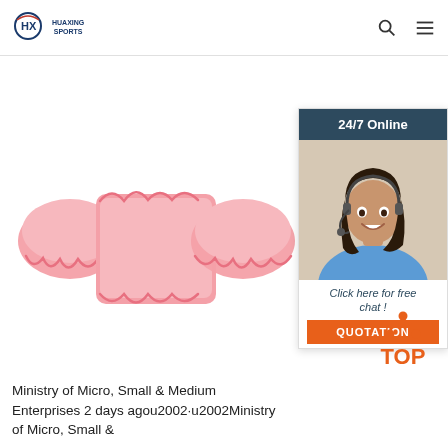HUAXING SPORTS
[Figure (photo): Pink inflatable swimming arm floaties / puddle jumper swim vest for children, shown against white background]
[Figure (photo): Customer service chat widget showing a smiling woman with headset, 24/7 Online label, Click here for free chat text, and QUOTATION button]
[Figure (illustration): TOP scroll-to-top button with orange dots triangle and red TOP text]
Ministry of Micro, Small & Medium Enterprises 2 days agou2002·u2002Ministry of Micro, Small &